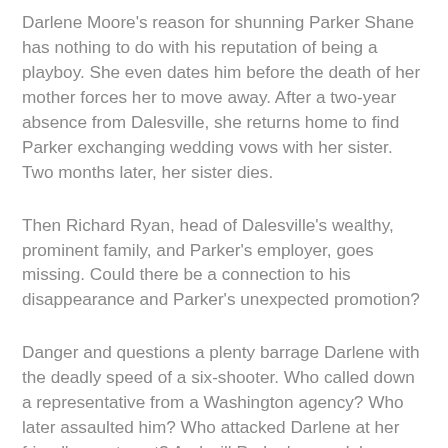Darlene Moore's reason for shunning Parker Shane has nothing to do with his reputation of being a playboy. She even dates him before the death of her mother forces her to move away. After a two-year absence from Dalesville, she returns home to find Parker exchanging wedding vows with her sister. Two months later, her sister dies.
Then Richard Ryan, head of Dalesville's wealthy, prominent family, and Parker's employer, goes missing. Could there be a connection to his disappearance and Parker's unexpected promotion?
Danger and questions a plenty barrage Darlene with the deadly speed of a six-shooter. Who called down a representative from a Washington agency? Who later assaulted him? Who attacked Darlene at her friend's apartment? And will Parker's scandalous brand of playboy be changed to one of murderous culprit? Or, in the